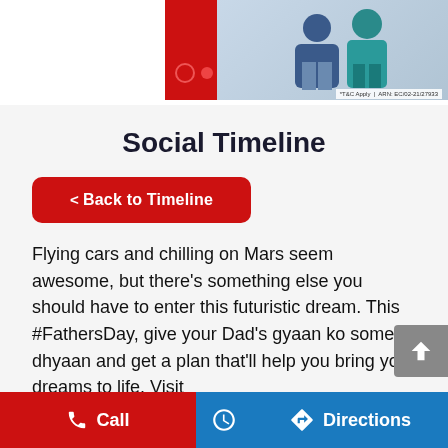[Figure (photo): Top banner image showing two people (older man and younger person in teal) seated, with a red block element and circular navigation dots. Text overlay: '*T&C Apply | ARN: EC/02-21/27933']
Social Timeline
< Back to Timeline
Flying cars and chilling on Mars seem awesome, but there's something else you should have to enter this futuristic dream. This #FathersDay, give your Dad's gyaan ko some dhyaan and get a plan that'll help you bring your dreams to life. Visit
Call    Directions